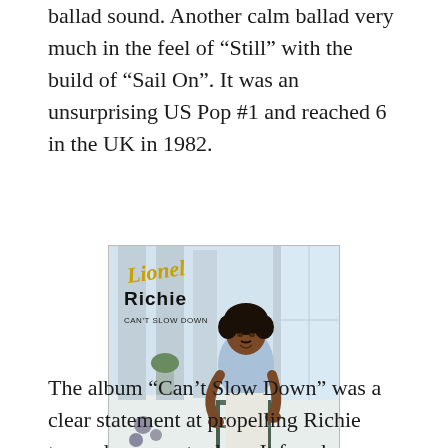ballad sound. Another calm ballad very much in the feel of “Still” with the build of “Sail On”. It was an unsurprising US Pop #1 and reached 6 in the UK in 1982.
[Figure (photo): Album cover of Lionel Richie's 'Can't Slow Down'. Shows Lionel Richie sitting on a chair in a bright white room. Text reads 'Lionel Richie Can't Slow Down'. A compact disc logo is visible in the lower left corner.]
The album “Can’t Slow Down” was a clear statement at propelling Richie towards super-stardom. It fused